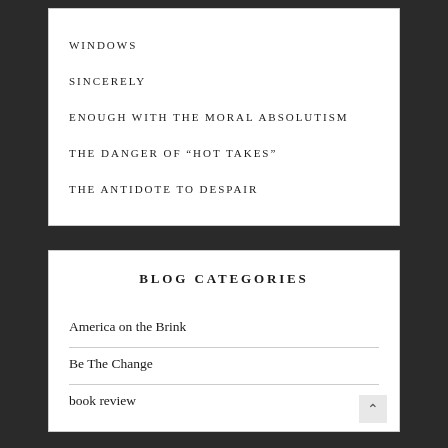WINDOWS
SINCERELY
ENOUGH WITH THE MORAL ABSOLUTISM
THE DANGER OF “HOT TAKES”
THE ANTIDOTE TO DESPAIR
BLOG CATEGORIES
America on the Brink
Be The Change
book review